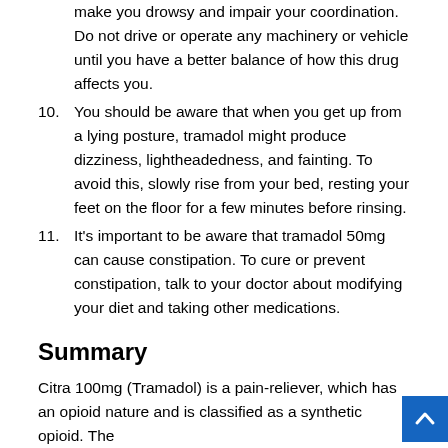make you drowsy and impair your coordination. Do not drive or operate any machinery or vehicle until you have a better balance of how this drug affects you.
10. You should be aware that when you get up from a lying posture, tramadol might produce dizziness, lightheadedness, and fainting. To avoid this, slowly rise from your bed, resting your feet on the floor for a few minutes before rinsing.
11. It's important to be aware that tramadol 50mg can cause constipation. To cure or prevent constipation, talk to your doctor about modifying your diet and taking other medications.
Summary
Citra 100mg (Tramadol) is a pain-reliever, which has an opioid nature and is classified as a synthetic opioid. The